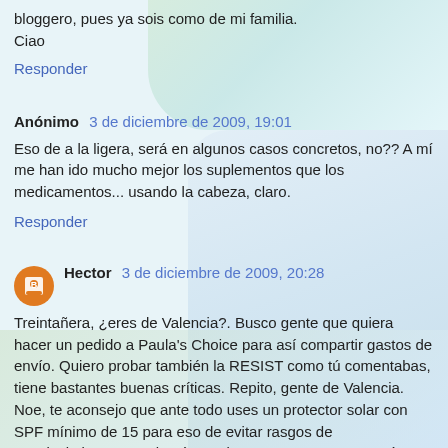bloggero, pues ya sois como de mi familia.
Ciao
Responder
Anónimo  3 de diciembre de 2009, 19:01
Eso de a la ligera, será en algunos casos concretos, no?? A mí me han ido mucho mejor los suplementos que los medicamentos... usando la cabeza, claro.
Responder
Hector  3 de diciembre de 2009, 20:28
Treintañera, ¿eres de Valencia?. Busco gente que quiera hacer un pedido a Paula's Choice para así compartir gastos de envío. Quiero probar también la RESIST como tú comentabas, tiene bastantes buenas críticas. Repito, gente de Valencia.
Noe, te aconsejo que ante todo uses un protector solar con SPF mínimo de 15 para eso de evitar rasgos de envejecimiento. Los demás productos que comentas están